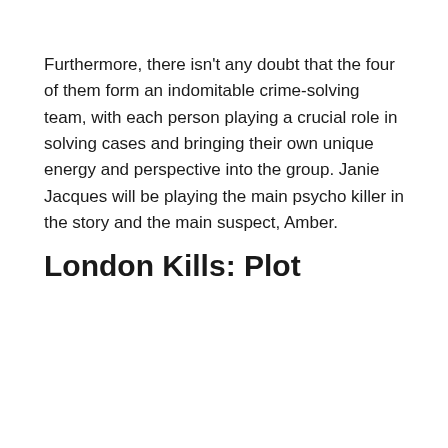Furthermore, there isn't any doubt that the four of them form an indomitable crime-solving team, with each person playing a crucial role in solving cases and bringing their own unique energy and perspective into the group. Janie Jacques will be playing the main psycho killer in the story and the main suspect, Amber.
London Kills: Plot